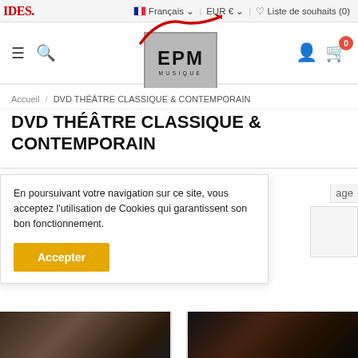IDES.
Français  EUR €  Liste de souhaits (0)
[Figure (logo): EPM Musique logo: grey rectangle with bold EPM text and MUSIQUE below, red swoosh mark on top]
Accueil / DVD THÉÂTRE CLASSIQUE & CONTEMPORAIN
DVD THÉÂTRE CLASSIQUE & CONTEMPORAIN
En poursuivant votre navigation sur ce site, vous acceptez l'utilisation de Cookies qui garantissent son bon fonctionnement.
Accepter
[Figure (photo): Two thumbnail images at the bottom of the page showing theatrical or artistic scenes]